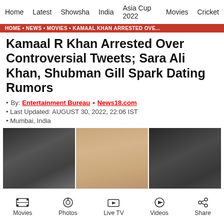Home  Latest  Showsha  India  Asia Cup 2022  Movies  Cricket
HOME • NEWS • MOVIES • KAMAAL KHAN ARRESTED OVE...
Kamaal R Khan Arrested Over Controversial Tweets; Sara Ali Khan, Shubman Gill Spark Dating Rumors
By: Entertainment Bureau • News18.com
Last Updated: AUGUST 30, 2022, 22:06 IST
Mumbai, India
[Figure (photo): Three cropped face photos side by side: left shows a person with dark curly/wavy hair, center shows a woman with dark hair and makeup looking at camera, right shows a person with dark hair partially visible.]
Movies  Photos  Live TV  Videos  Share